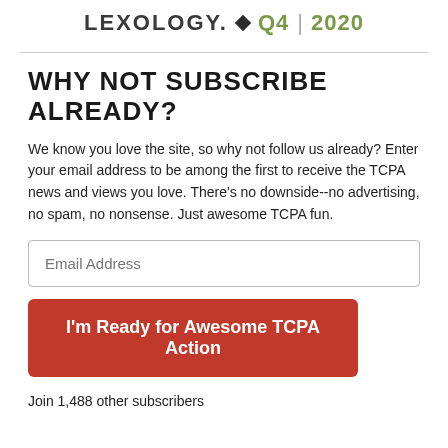[Figure (logo): Lexology logo with diamond icon, Q4 | 2020 in green]
WHY NOT SUBSCRIBE ALREADY?
We know you love the site, so why not follow us already? Enter your email address to be among the first to receive the TCPA news and views you love. There's no downside--no advertising, no spam, no nonsense. Just awesome TCPA fun.
Email Address
I'm Ready for Awesome TCPA Action
Join 1,488 other subscribers